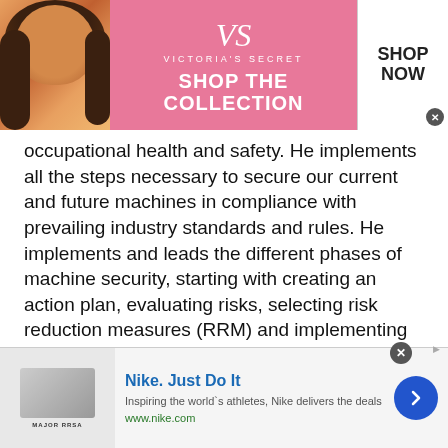[Figure (screenshot): Victoria's Secret advertisement banner with model, logo, 'SHOP THE COLLECTION' text, and 'SHOP NOW' button]
occupational health and safety. He implements all the steps necessary to secure our current and future machines in compliance with prevailing industry standards and rules. He implements and leads the different phases of machine security, starting with creating an action plan, evaluating risks, selecting risk reduction measures (RRM) and implementing them. He will have to coordinate and document all internal ... more
Pandalogic - 28 days ago
This site uses cookies and other similar technologies to provide site functionality, analyze traffic and usage, and
[Figure (screenshot): Nike advertisement with thumbnail image, 'Nike. Just Do It' headline, description text, and arrow button]